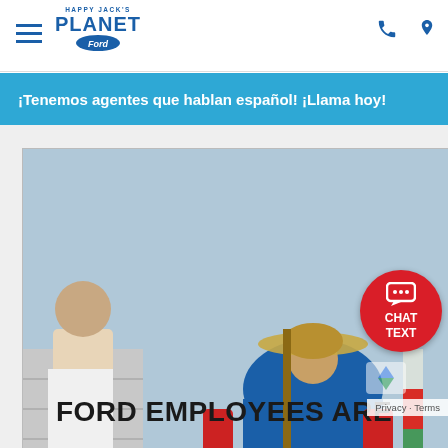Planet Ford navigation bar with hamburger menu, Planet Ford logo, phone and location icons
¡Tenemos agentes que hablan español! ¡Llama hoy!
[Figure (photo): People wearing blue shirts and straw hats doing community volunteer work, laying concrete or doing construction at what appears to be a building project. Several workers are bending over working with tools and materials.]
FORD EMPLOYEES ARE